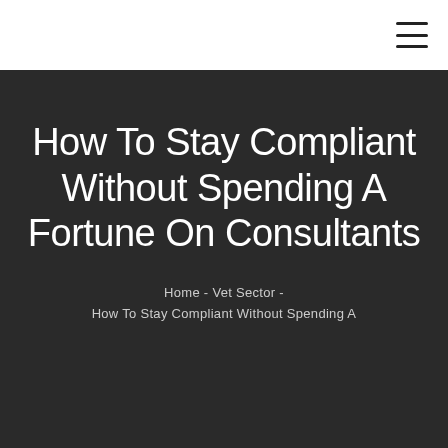How To Stay Compliant Without Spending A Fortune On Consultants
Home - Vet Sector -
How To Stay Compliant Without Spending A